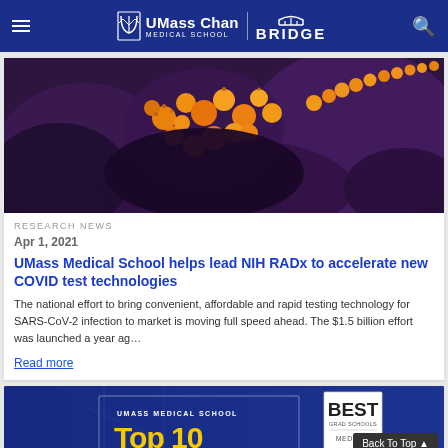UMass Chan Medical School | BRIDGE
[Figure (photo): Microscopy image showing orange/yellow coronavirus particles (SARS-CoV-2) against a dark purple cell background]
RESEARCH NEWS
Apr 1, 2021
UMass Medical School helps lead NIH RADx to accelerate new COVID test technologies
The national effort to bring convenient, affordable and rapid testing technology for SARS-CoV-2 infection to market is moving full speed ahead. The $1.5 billion effort was launched a year ag…
Read more
[Figure (screenshot): UMass Medical School promotional banner with 'BEST GRAD SCHOOLS' badge and 'UMASS MEDICAL SCHOOL' text in blue background with yellow 'Top 10' text partially visible]